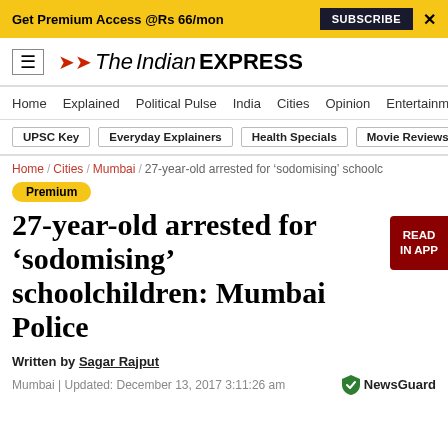Get Premium Access @Rs 66/mon  SUBSCRIBE  X
[Figure (logo): The Indian Express logo with hamburger menu icon]
Home / Explained / Political Pulse / India / Cities / Opinion / Entertainment
UPSC Key | Everyday Explainers | Health Specials | Movie Reviews
Home / Cities / Mumbai / 27-year-old arrested for 'sodomising' schoolc
Premium
27-year-old arrested for 'sodomising' schoolchildren: Mumbai Police
Written by Sagar Rajput
Mumbai | Updated: December 13, 2017 3:11:26 am